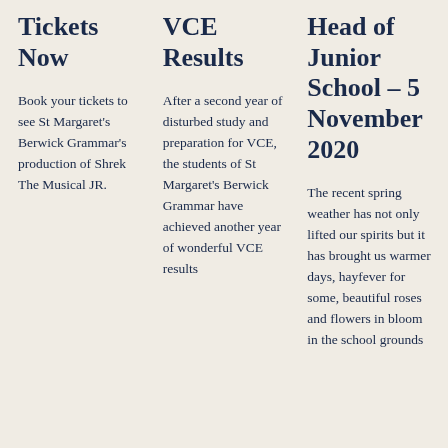Tickets Now
Book your tickets to see St Margaret's Berwick Grammar's production of Shrek The Musical JR.
VCE Results
After a second year of disturbed study and preparation for VCE, the students of St Margaret's Berwick Grammar have achieved another year of wonderful VCE results
Head of Junior School – 5 November 2020
The recent spring weather has not only lifted our spirits but it has brought us warmer days, hayfever for some, beautiful roses and flowers in bloom in the school grounds